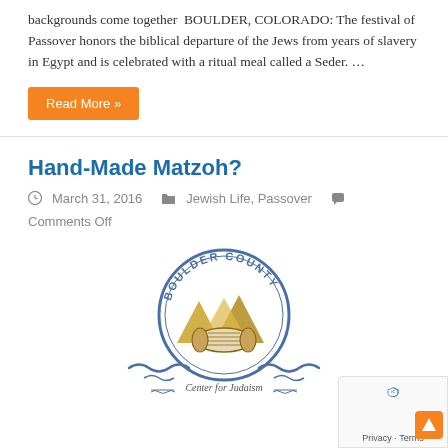backgrounds come together  BOULDER, COLORADO: The festival of Passover honors the biblical departure of the Jews from years of slavery in Egypt and is celebrated with a ritual meal called a Seder. …
Read More »
Hand-Made Matzoh?
March 31, 2016   Jewish Life, Passover   Comments Off
[Figure (logo): Boulder County Center for Judaism circular logo with mountains and Torah scrolls, with decorative wave elements and text 'Center for Judaism']